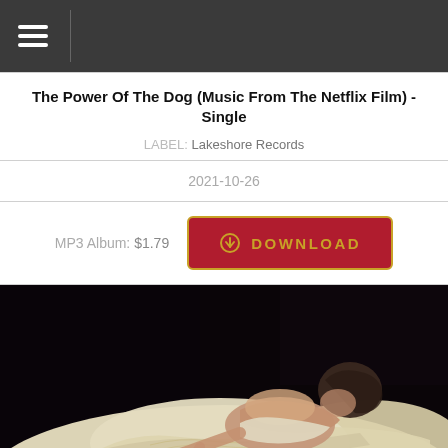≡ (navigation menu icon)
The Power Of The Dog (Music From The Netflix Film) - Single
LABEL: Lakeshore Records
2021-10-26
MP3 Album: $1.79  DOWNLOAD
[Figure (photo): Album cover art showing a figure in an ornate white embroidered dress lying face-down on a white surface against a dark/black background, dark hair visible, lit dramatically.]